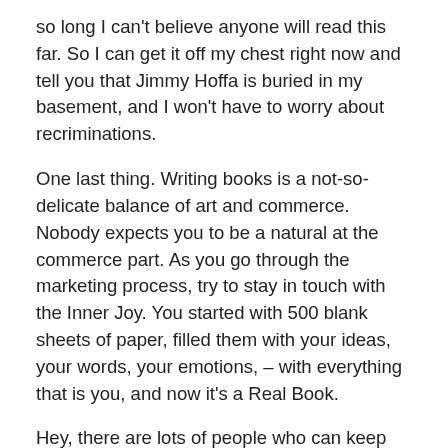so long I can't believe anyone will read this far. So I can get it off my chest right now and tell you that Jimmy Hoffa is buried in my basement, and I won't have to worry about recriminations.
One last thing. Writing books is a not-so-delicate balance of art and commerce. Nobody expects you to be a natural at the commerce part. As you go through the marketing process, try to stay in touch with the Inner Joy. You started with 500 blank sheets of paper, filled them with your ideas, your words, your emotions, – with everything that is you, and now it's a Real Book.
Hey, there are lots of people who can keep you from becoming a world famous, best selling, household name author. But only one person can prevent you from feeling the sheer joy and exhilaration you get every time you say .